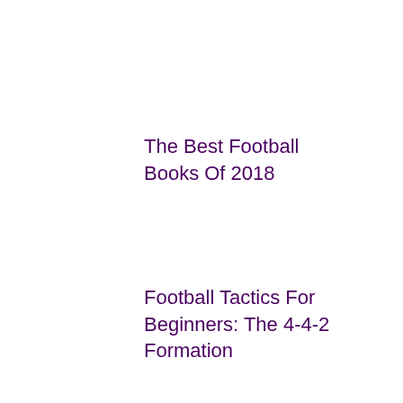The Best Football Books Of 2018
Football Tactics For Beginners: The 4-4-2 Formation